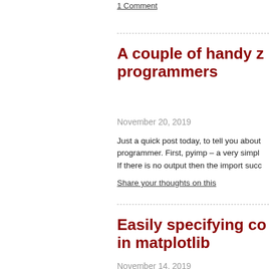1 Comment
A couple of handy z programmers
November 20, 2019
Just a quick post today, to tell you about programmer. First, pyimp – a very simple If there is no output then the import succ
Share your thoughts on this
Easily specifying co in matplotlib
November 14, 2019